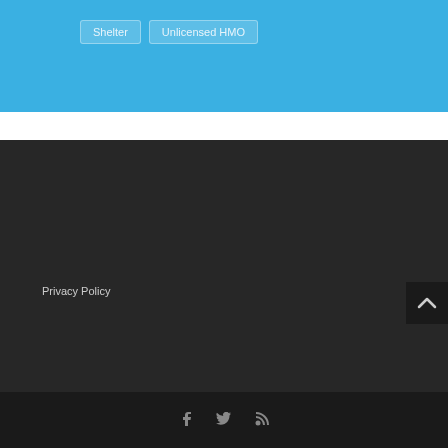Shelter
Unlicensed HMO
Privacy Policy
Social media links: Facebook, Twitter, RSS